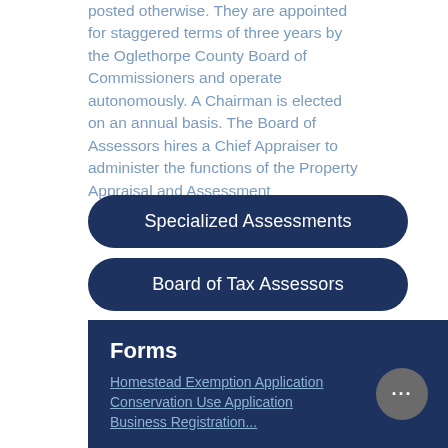posted otherwise. They are appointed for staggered terms of three years by the Oglethorpe County Board of Commissioners and operate autonomously. A Chairman is elected on an annual basis. The Board of Assessors hires a Chief Appraiser to administer the functions of the Property Appraisal and Assessment Administration.
Specialized Assessments
Board of Tax Assessors
Property Records Search
Forms
Homestead Exemption Application
Conservation Use Application